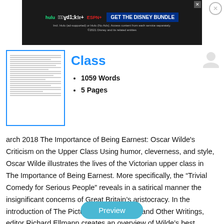[Figure (screenshot): Disney Bundle advertisement banner with Hulu, Disney+, ESPN+ logos and 'GET THE DISNEY BUNDLE' CTA]
[Figure (thumbnail): Document preview thumbnail with blue border showing text lines]
Class
1059 Words
5 Pages
arch 2018 The Importance of Being Earnest: Oscar Wilde's Criticism on the Upper Class Using humor, cleverness, and style, Oscar Wilde illustrates the lives of the Victorian upper class in The Importance of Being Earnest. More specifically, the “Trivial Comedy for Serious People” reveals in a satirical manner the insignificant concerns of Great Britain’s aristocracy. In the introduction of The Picture of Dorian Gray and Other Writings, editor Richard Ellmann creates an overview of Wilde’s best known…